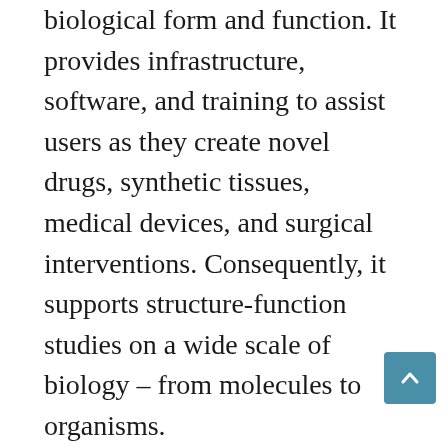biological form and function. It provides infrastructure, software, and training to assist users as they create novel drugs, synthetic tissues, medical devices, and surgical interventions. Consequently, it supports structure-function studies on a wide scale of biology – from molecules to organisms.
Simbios scientists are currently focusing on challenging biological problems in RNA folding, myosin dynamics, neuromuscular biomechanics and cardiovascular dynamics. Simbios also provides the biomedical community with simtk.org, a free, secure, archival, distributed software repository and development environment where researchers and